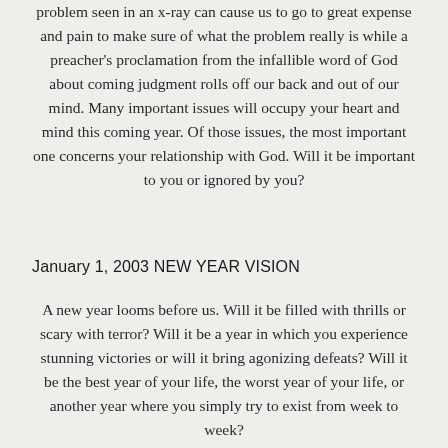problem seen in an x-ray can cause us to go to great expense and pain to make sure of what the problem really is while a preacher's proclamation from the infallible word of God about coming judgment rolls off our back and out of our mind. Many important issues will occupy your heart and mind this coming year. Of those issues, the most important one concerns your relationship with God. Will it be important to you or ignored by you?
January 1, 2003 NEW YEAR VISION
A new year looms before us. Will it be filled with thrills or scary with terror? Will it be a year in which you experience stunning victories or will it bring agonizing defeats? Will it be the best year of your life, the worst year of your life, or another year where you simply try to exist from week to week?